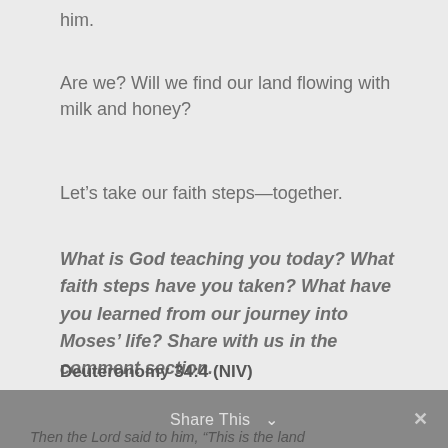him.
Are we? Will we find our land flowing with milk and honey?
Let’s take our faith steps—together.
What is God teaching you today? What faith steps have you taken? What have you learned from our journey into Moses’ life? Share with us in the comment section.
Deuteronomy 34:4 (NIV)
Share This ∨
Then the Lord said to him, “This is the land